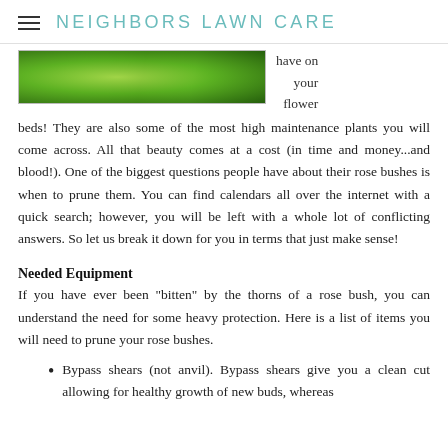NEIGHBORS LAWN CARE
[Figure (photo): Close-up photograph of green leaves with water droplets]
have on your flower beds! They are also some of the most high maintenance plants you will come across. All that beauty comes at a cost (in time and money...and blood!). One of the biggest questions people have about their rose bushes is when to prune them. You can find calendars all over the internet with a quick search; however, you will be left with a whole lot of conflicting answers. So let us break it down for you in terms that just make sense!
Needed Equipment
If you have ever been "bitten" by the thorns of a rose bush, you can understand the need for some heavy protection. Here is a list of items you will need to prune your rose bushes.
Bypass shears (not anvil). Bypass shears give you a clean cut allowing for healthy growth of new buds, whereas